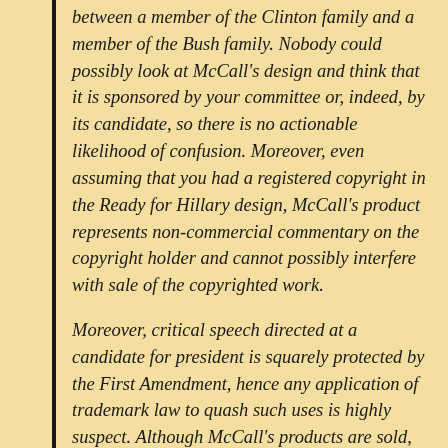between a member of the Clinton family and a member of the Bush family. Nobody could possibly look at McCall's design and think that it is sponsored by your committee or, indeed, by its candidate, so there is no actionable likelihood of confusion. Moreover, even assuming that you had a registered copyright in the Ready for Hillary design, McCall's product represents non-commercial commentary on the copyright holder and cannot possibly interfere with sale of the copyrighted work.
Moreover, critical speech directed at a candidate for president is squarely protected by the First Amendment, hence any application of trademark law to quash such uses is highly suspect. Although McCall's products are sold, their contents are